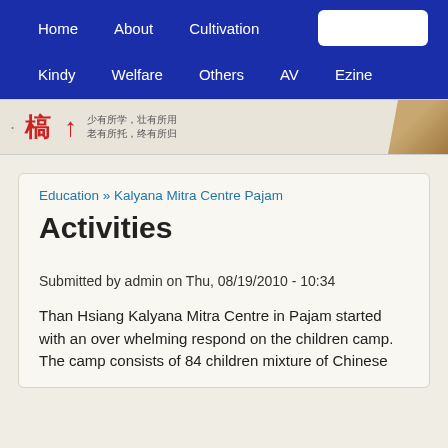Home   About   Cultivation   [search box]   Kindy   Welfare   Others   AV   Ezine
[Figure (illustration): Website banner with Chinese characters in red, small Chinese text reading 少有所学，壮有所用 / 老有所托，终有所归, and a building illustration on the right, on a beige/grey background.]
Education » Kalyana Mitra Centre Pajam
Activities
Submitted by admin on Thu, 08/19/2010 - 10:34
Than Hsiang Kalyana Mitra Centre in Pajam started with an over whelming respond on the children camp. The camp consists of 84 children mixture of Chinese